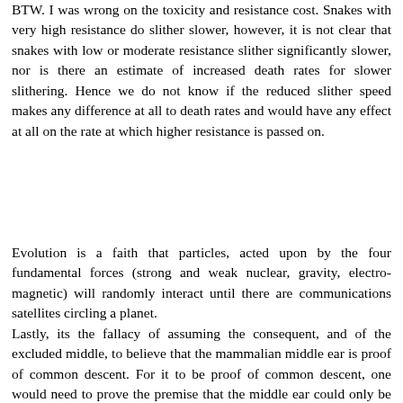BTW. I was wrong on the toxicity and resistance cost. Snakes with very high resistance do slither slower, however, it is not clear that snakes with low or moderate resistance slither significantly slower, nor is there an estimate of increased death rates for slower slithering. Hence we do not know if the reduced slither speed makes any difference at all to death rates and would have any effect at all on the rate at which higher resistance is passed on.
Evolution is a faith that particles, acted upon by the four fundamental forces (strong and weak nuclear, gravity, electro-magnetic) will randomly interact until there are communications satellites circling a planet.
Lastly, its the fallacy of assuming the consequent, and of the excluded middle, to believe that the mammalian middle ear is proof of common descent. For it to be proof of common descent, one would need to prove the premise that the middle ear could only be derived by common descent. Currently that premise is assumed, not proved, and so results in the fallacy of assuming the consequent. Second, given that the premise is not proved, one also has